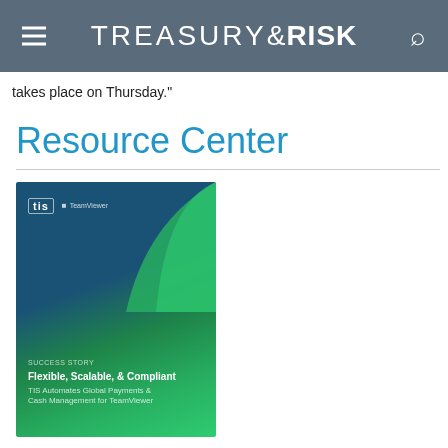TREASURY & RISK
takes place on Thursday."
Resource Center
[Figure (illustration): White paper cover image for TIS - Flexible, Scalable & Compliant: TIS Automates Global Payments & Cash Management for TeamViewer]
WHITE PAPER
SPONSORED BY TREASURY INTELLIGENCE SOLUTIONS INC.
Flexible, Scalable & Compliant: Automated Global Payments &